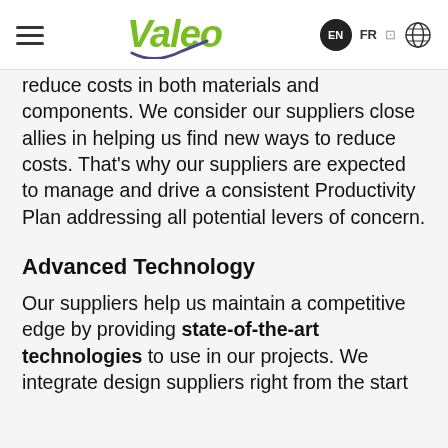Valeo | EN | FR | globe
reduce costs in both materials and components. We consider our suppliers close allies in helping us find new ways to reduce costs. That's why our suppliers are expected to manage and drive a consistent Productivity Plan addressing all potential levers of concern.
Advanced Technology
Our suppliers help us maintain a competitive edge by providing state-of-the-art technologies to use in our projects. We integrate design suppliers right from the start